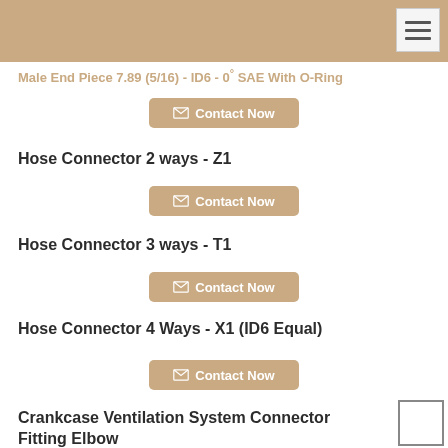Male End Piece 7.89 (5/16) - ID6 - 0° SAE With O-Ring
Contact Now
Hose Connector 2 ways - Z1
Contact Now
Hose Connector 3 ways - T1
Contact Now
Hose Connector 4 Ways - X1 (ID6 Equal)
Contact Now
Crankcase Ventilation System Connector Fitting Elbow